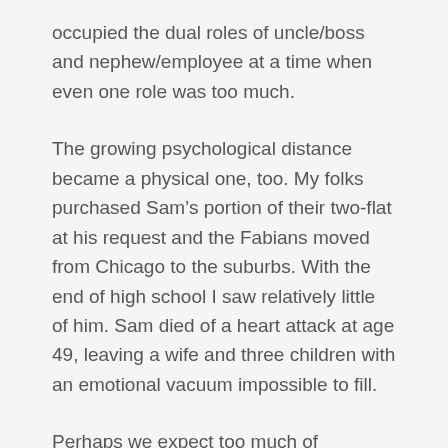occupied the dual roles of uncle/boss and nephew/employee at a time when even one role was too much.
The growing psychological distance became a physical one, too. My folks purchased Sam’s portion of their two-flat at his request and the Fabians moved from Chicago to the suburbs. With the end of high school I saw relatively little of him. Sam died of a heart attack at age 49, leaving a wife and three children with an emotional vacuum impossible to fill.
Perhaps we expect too much of relationships: that they should be forever fulfilling, at least as long as both parties live. Experience tells us most serve for a time, not more. We change, the other changes,